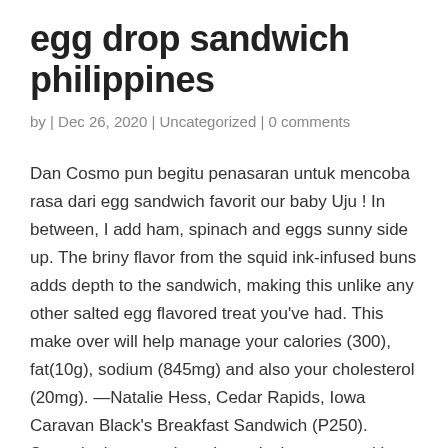egg drop sandwich philippines
by | Dec 26, 2020 | Uncategorized | 0 comments
Dan Cosmo pun begitu penasaran untuk mencoba rasa dari egg sandwich favorit our baby Uju ! In between, I add ham, spinach and eggs sunny side up. The briny flavor from the squid ink-infused buns adds depth to the sandwich, making this unlike any other salted egg flavored treat you've had. This make over will help manage your calories (300), fat(10g), sodium (845mg) and also your cholesterol (20mg). —Natalie Hess, Cedar Rapids, Iowa Caravan Black's Breakfast Sandwich (P250). Spread mixture on bread evenly then cover with another slice. Fresh tuna and creamy avocado make for a surprisingly good blend, coming together for a rich and tasty filling that goes well with